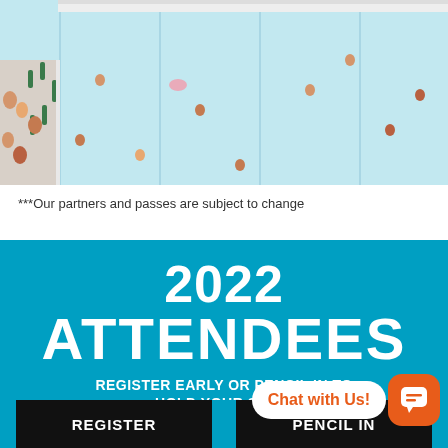[Figure (photo): Aerial view of a swimming pool with many people swimming and standing around the pool deck, viewed from above. Light blue water with pool lane lines visible.]
***Our partners and passes are subject to change
2022 ATTENDEES
REGISTER EARLY OR PENCIL IN TO HOLD YOUR SPOT!
REGISTER
PENCIL IN